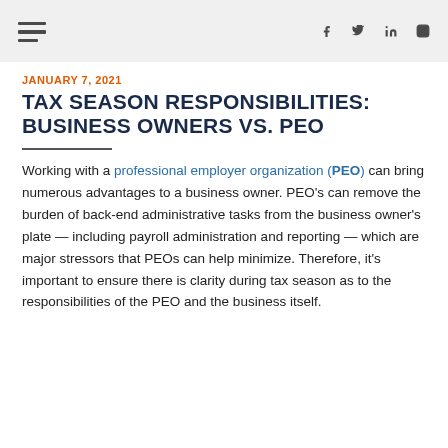JANUARY 7, 2021
TAX SEASON RESPONSIBILITIES: BUSINESS OWNERS VS. PEO
Working with a professional employer organization (PEO) can bring numerous advantages to a business owner. PEO's can remove the burden of back-end administrative tasks from the business owner's plate — including payroll administration and reporting — which are major stressors that PEOs can help minimize. Therefore, it's important to ensure there is clarity during tax season as to the responsibilities of the PEO and the business itself.